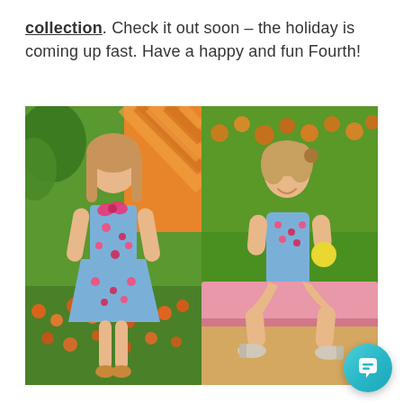collection. Check it out soon – the holiday is coming up fast. Have a happy and fun Fourth!
[Figure (photo): Young girl in blue floral dress with pink bow standing in garden with orange flowers and striped wall background]
[Figure (photo): Toddler girl in blue floral romper sitting on a pink ledge holding a yellow ball, with green grass and orange flowers in background, wearing silver sandals]